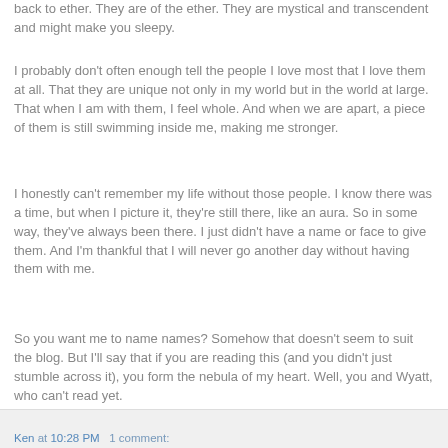back to ether. They are of the ether. They are mystical and transcendent and might make you sleepy.
I probably don't often enough tell the people I love most that I love them at all. That they are unique not only in my world but in the world at large. That when I am with them, I feel whole. And when we are apart, a piece of them is still swimming inside me, making me stronger.
I honestly can't remember my life without those people. I know there was a time, but when I picture it, they're still there, like an aura. So in some way, they've always been there. I just didn't have a name or face to give them. And I'm thankful that I will never go another day without having them with me.
So you want me to name names? Somehow that doesn't seem to suit the blog. But I'll say that if you are reading this (and you didn't just stumble across it), you form the nebula of my heart. Well, you and Wyatt, who can't read yet.
Ken at 10:28 PM   1 comment: